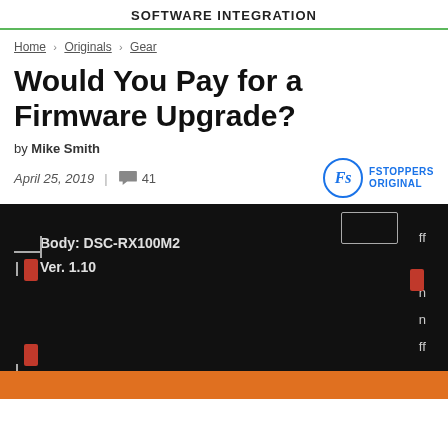SOFTWARE INTEGRATION
Home > Originals > Gear
Would You Pay for a Firmware Upgrade?
by Mike Smith
April 25, 2019 | 41
[Figure (photo): Camera LCD screen showing Body: DSC-RX100M2 and Ver. 1.10 firmware version screen with red buttons on sides and menu letters on right]